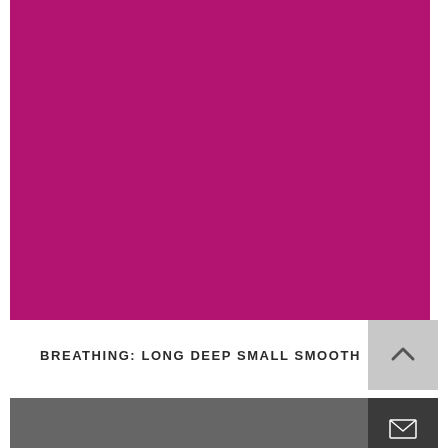[Figure (illustration): Solid magenta/crimson colored rectangular block filling the upper portion of the page]
BREATHING: LONG DEEP SMALL SMOOTH
[Figure (other): Gray footer bar at bottom with dark square email icon button on the right]